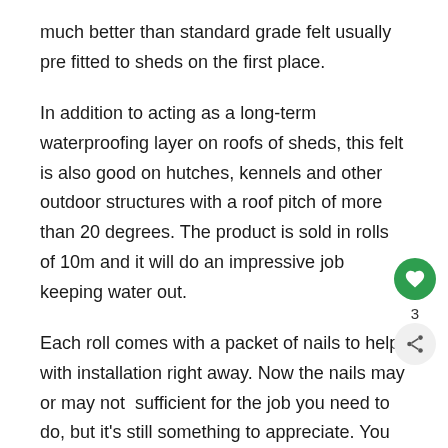much better than standard grade felt usually pre fitted to sheds on the first place.
In addition to acting as a long-term waterproofing layer on roofs of sheds, this felt is also good on hutches, kennels and other outdoor structures with a roof pitch of more than 20 degrees. The product is sold in rolls of 10m and it will do an impressive job keeping water out.
Each roll comes with a packet of nails to help with installation right away. Now the nails may or may not be sufficient for the job you need to do, but it's still something to appreciate. You have to be careful with this felt though as 10m is quite heavy but it is expected with it being more of a premium grade, any shed felt
[Figure (other): UI overlay buttons: a green circular heart/favorite button and a share button with count 3]